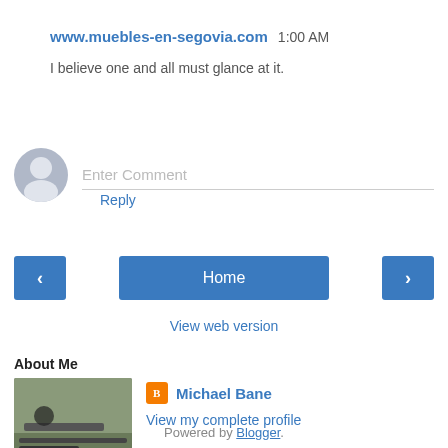www.muebles-en-segovia.com 1:00 AM
I believe one and all must glance at it.
Reply
Enter Comment
Home
View web version
About Me
[Figure (photo): Profile photo of Michael Bane aiming a rifle]
Michael Bane
View my complete profile
Powered by Blogger.